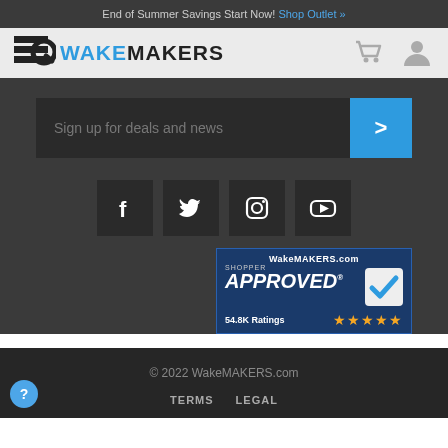End of Summer Savings Start Now! Shop Outlet »
[Figure (logo): WakeMAKERS logo with magnifying glass icon and blue text]
[Figure (infographic): Shopping cart icon and user account icon in header]
Sign up for deals and news
[Figure (infographic): Social media icons: Facebook, Twitter, Instagram, YouTube]
[Figure (infographic): WakeMAKERS.com Shopper Approved badge with 54.8K Ratings and 5 stars]
© 2022 WakeMAKERS.com
TERMS   LEGAL